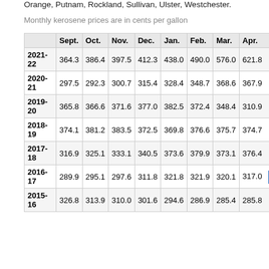Orange, Putnam, Rockland, Sullivan, Ulster, Westchester.
Monthly kerosene prices are in cents per gallon
|  | Sept. | Oct. | Nov. | Dec. | Jan. | Feb. | Mar. | Apr. | May | June |
| --- | --- | --- | --- | --- | --- | --- | --- | --- | --- | --- |
| 2021-22 | 364.3 | 386.4 | 397.5 | 412.3 | 438.0 | 490.0 | 576.0 | 621.8 | 714.9 | 709.7 |
| 2020-21 | 297.5 | 292.3 | 300.7 | 315.4 | 328.4 | 348.7 | 368.6 | 367.9 | 366.8 | 369.7 |
| 2019-20 | 365.8 | 366.6 | 371.6 | 377.0 | 382.5 | 372.4 | 348.4 | 310.9 | 292.7 | 297.9 |
| 2018-19 | 374.1 | 381.2 | 383.5 | 372.5 | 369.8 | 376.6 | 375.7 | 374.7 | 373.5 | 366.5 |
| 2017-18 | 316.9 | 325.1 | 333.1 | 340.5 | 373.6 | 379.9 | 373.1 | 376.4 | 379.9 | 375.3 |
| 2016-17 | 289.9 | 295.1 | 297.6 | 311.8 | 321.8 | 321.9 | 320.1 | 317.0 | 307.3 | 305. |
| 2015-16 | 326.8 | 313.9 | 310.0 | 301.6 | 294.6 | 286.9 | 285.4 | 285.8 | 288.9 | 291.0 |